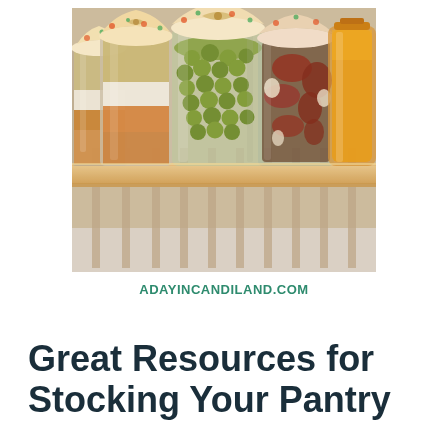[Figure (photo): Photograph of several glass mason jars filled with preserved foods (green peas, grains, pickled vegetables, honey) sitting on a wooden pantry shelf. The jars have decorative fabric and ribbon covers. Warm, natural lighting.]
ADAYINCANDILAND.COM
Great Resources for Stocking Your Pantry